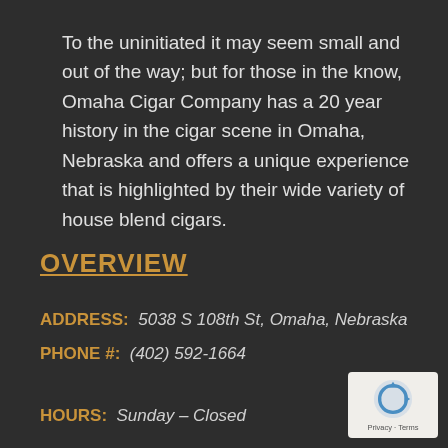To the uninitiated it may seem small and out of the way; but for those in the know, Omaha Cigar Company has a 20 year history in the cigar scene in Omaha, Nebraska and offers a unique experience that is highlighted by their wide variety of house blend cigars.
OVERVIEW
ADDRESS:  5038 S 108th St, Omaha, Nebraska
PHONE #:  (402) 592-1664
HOURS:  Sunday – Closed
[Figure (logo): reCAPTCHA logo with Privacy and Terms text]